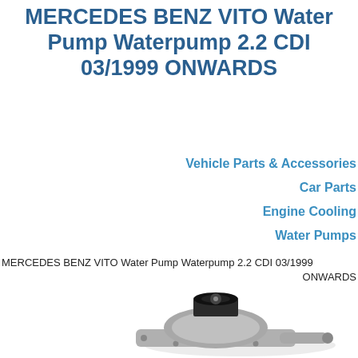MERCEDES BENZ VITO Water Pump Waterpump 2.2 CDI 03/1999 ONWARDS
Vehicle Parts & Accessories
Car Parts
Engine Cooling
Water Pumps
MERCEDES BENZ VITO Water Pump Waterpump 2.2 CDI 03/1999 ONWARDS
[Figure (photo): Photo of a Mercedes Benz Vito water pump (waterpump), a metallic automotive cooling component with a black pulley on top and an outlet pipe, viewed from an angle.]